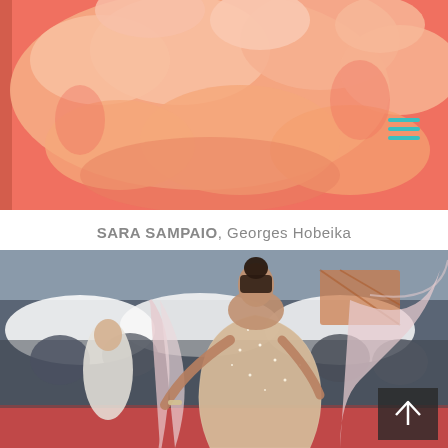[Figure (photo): Top portion showing coral/salmon red background with fluffy peach-colored fur or feather material, with a teal hamburger menu icon overlay in the upper right]
SARA SAMPAIO, Georges Hobeika
[Figure (photo): Sara Sampaio wearing a strapless sparkly/sequined blush/champagne gown with a flowing pink chiffon cape, hair in a bun, posing on a red carpet event (Cannes), crowd visible in background, with a back-to-top arrow button overlaid in bottom right corner]